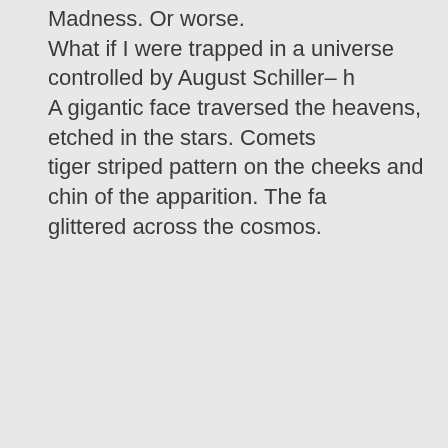Madness. Or worse. What if I were trapped in a universe controlled by August Schiller– h A gigantic face traversed the heavens, etched in the stars. Comets tiger striped pattern on the cheeks and chin of the apparition. The fa glittered across the cosmos.